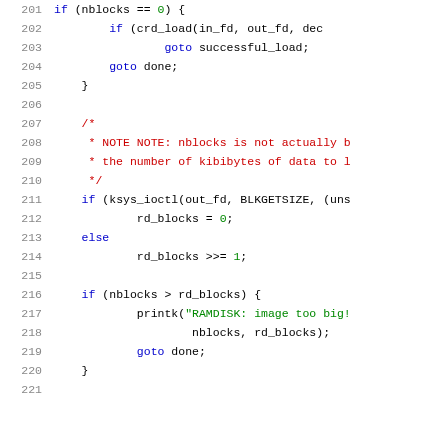Source code listing, lines 201-221, C kernel code
201    if (nblocks == 0) {
202            if (crd_load(in_fd, out_fd, dec...
203                    goto successful_load;
204            goto done;
205    }
206
207    /*
208     * NOTE NOTE: nblocks is not actually b...
209     * the number of kibibytes of data to l...
210     */
211    if (ksys_ioctl(out_fd, BLKGETSIZE, (uns...
212            rd_blocks = 0;
213    else
214            rd_blocks >>= 1;
215
216    if (nblocks > rd_blocks) {
217            printk("RAMDISK: image too big!...
218                    nblocks, rd_blocks);
219            goto done;
220    }
221